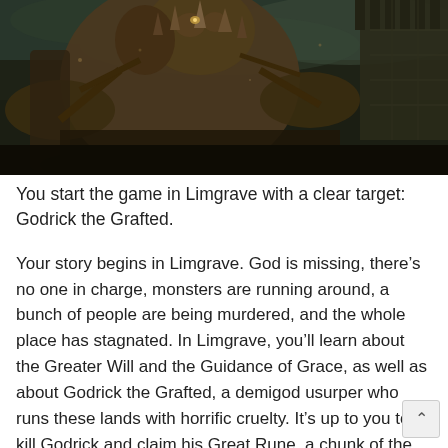[Figure (photo): Dark fantasy game screenshot showing large monstrous creature (Godrick the Grafted) in a grim, stormy environment with castle battlements in the background]
You start the game in Limgrave with a clear target: Godrick the Grafted.
Your story begins in Limgrave. God is missing, there's no one in charge, monsters are running around, a bunch of people are being murdered, and the whole place has stagnated. In Limgrave, you'll learn about the Greater Will and the Guidance of Grace, as well as about Godrick the Grafted, a demigod usurper who runs these lands with horrific cruelty. It's up to you to kill Godrick and claim his Great Rune, a chunk of the magical Elden Ring. Gathering the Great Runes will allow